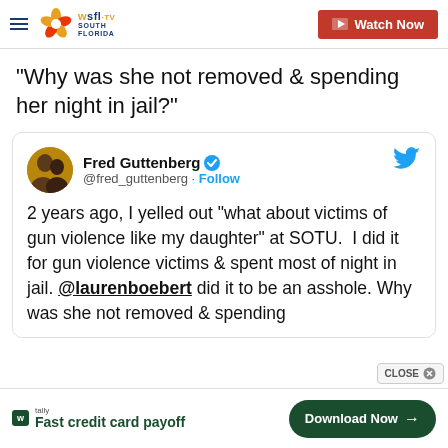WSFL-TV South Florida | Watch Now
"Why was she not removed & spending her night in jail?"
[Figure (screenshot): Tweet by Fred Guttenberg (@fred_guttenberg): '2 years ago, I yelled out "what about victims of gun violence like my daughter" at SOTU. I did it for gun violence victims & spent most of night in jail. @laurenboebert did it to be an asshole. Why was she not removed & spending her night in jail?']
[Figure (advertisement): Tally app advertisement: Fast credit card payoff. Download Now button.]